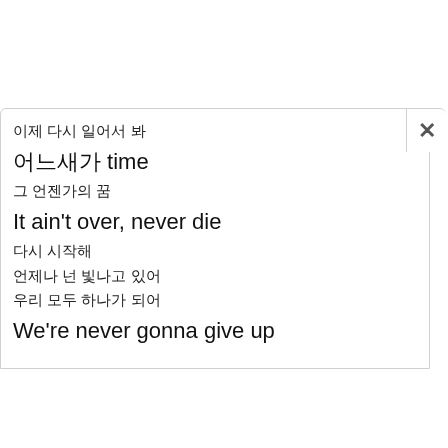이제 다시 일어서 봐
어느새가 time
그 언젠가의 꿈
It ain't over, never die
다시 시작해
언제나 넌 빛나고 있어
우리 모두 하나가 되어
We're never gonna give up